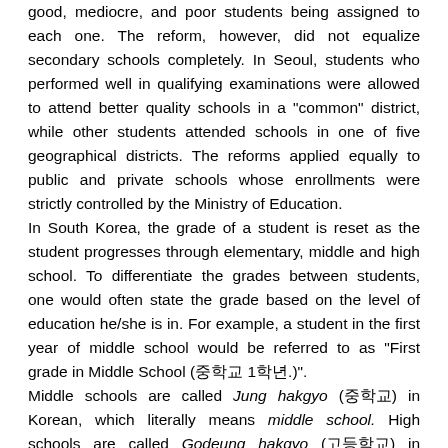good, mediocre, and poor students being assigned to each one. The reform, however, did not equalize secondary schools completely. In Seoul, students who performed well in qualifying examinations were allowed to attend better quality schools in a "common" district, while other students attended schools in one of five geographical districts. The reforms applied equally to public and private schools whose enrollments were strictly controlled by the Ministry of Education. In South Korea, the grade of a student is reset as the student progresses through elementary, middle and high school. To differentiate the grades between students, one would often state the grade based on the level of education he/she is in. For example, a student in the first year of middle school would be referred to as "First grade in Middle School (중학교 1학년.)". Middle schools are called Jung hakgyo (중학교) in Korean, which literally means middle school. High schools are called Godeung hakgyo (고등학교) in Korean, literally meaning "high school".
Middle school [edit]
Middle schools in South Korea consist of three grades. Most students enter at age 12 and graduate at age 14 or